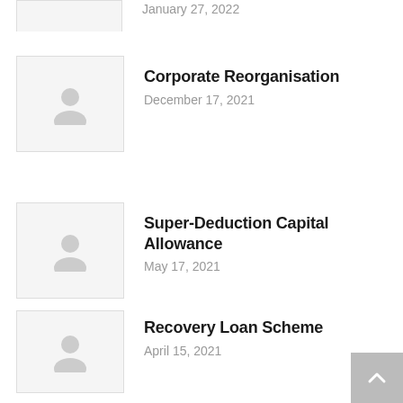January 27, 2022
[Figure (illustration): Placeholder thumbnail with grey person icon]
Corporate Reorganisation
December 17, 2021
[Figure (illustration): Placeholder thumbnail with grey person icon]
Super-Deduction Capital Allowance
May 17, 2021
[Figure (illustration): Placeholder thumbnail with grey person icon]
Recovery Loan Scheme
April 15, 2021
[Figure (illustration): Placeholder thumbnail with grey person icon]
We are looking for a 2014 Caterpillar 374F LME Excavator,